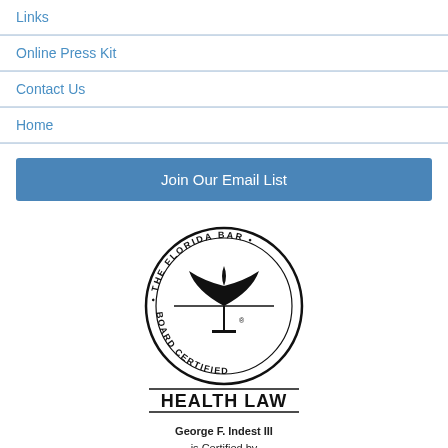Links
Online Press Kit
Contact Us
Home
Join Our Email List
[Figure (logo): The Florida Bar Board Certified - Health Law seal/logo with circular text reading 'THE FLORIDA BAR • BOARD CERTIFIED •' surrounding a stylized flame and leaf emblem, with 'HEALTH LAW' text below and two horizontal lines]
George F. Indest III is Certified by The Florida Bar in Health Law